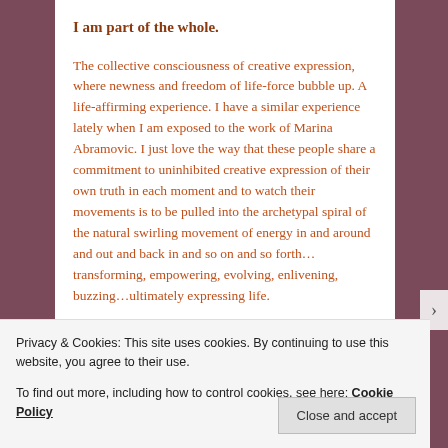I am part of the whole.
The collective consciousness of creative expression, where newness and freedom of life-force bubble up. A life-affirming experience. I have a similar experience lately when I am exposed to the work of Marina Abramovic. I just love the way that these people share a commitment to uninhibited creative expression of their own truth in each moment and to watch their movements is to be pulled into the archetypal spiral of the natural swirling movement of energy in and around and out and back in and so on and so forth…transforming, empowering, evolving, enlivening, buzzing…ultimately expressing life.
Privacy & Cookies: This site uses cookies. By continuing to use this website, you agree to their use.
To find out more, including how to control cookies, see here: Cookie Policy